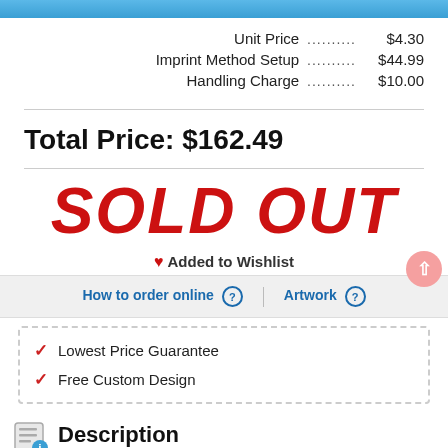Unit Price ........... $4.30
Imprint Method Setup ........... $44.99
Handling Charge ........... $10.00
Total Price: $162.49
SOLD OUT
❤ Added to Wishlist
How to order online ? | Artwork ?
✓ Lowest Price Guarantee
✓ Free Custom Design
Description
Sometimes your customers need more than a promotional pen